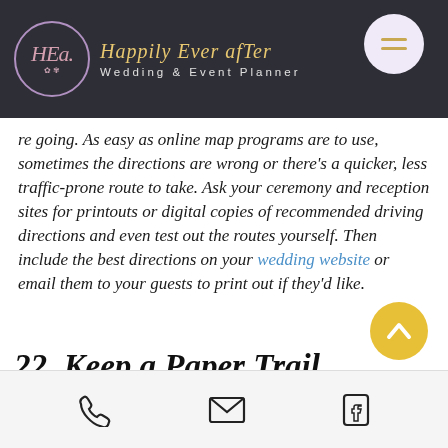Happily Ever afTer — Wedding & Event Planner
re going. As easy as online map programs are to use, sometimes the directions are wrong or there's a quicker, less traffic-prone route to take. Ask your ceremony and reception sites for printouts or digital copies of recommended driving directions and even test out the routes yourself. Then include the best directions on your wedding website or email them to your guests to print out if they'd like.
22. Keep a Paper Trail
phone | email | facebook